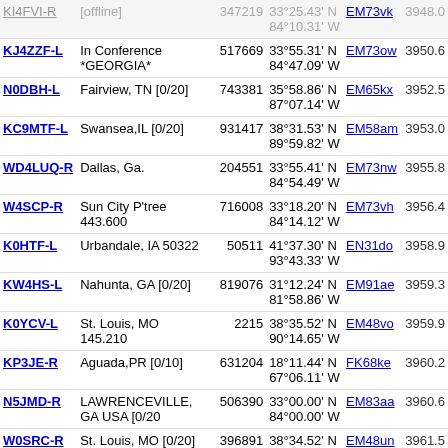| Callsign | Location | Node ID | Coordinates | Grid | Dist |
| --- | --- | --- | --- | --- | --- |
| KI4FVI-R [offline] | [offline] | 347219 | 33°25.43' N 84°10.31' W | EM73vk | 3948.0 |
| KJ4ZZF-L | In Conference *GEORGIA* | 517669 | 33°55.31' N 84°47.09' W | EM73ow | 3950.6 |
| N0DBH-L | Fairview, TN [0/20] | 743381 | 35°58.86' N 87°07.14' W | EM65kx | 3952.5 |
| KC9MTF-L | Swansea,IL [0/20] | 931417 | 38°31.53' N 89°59.82' W | EM58am | 3953.0 |
| WD4LUQ-R | Dallas, Ga. | 204551 | 33°55.41' N 84°54.49' W | EM73nw | 3955.8 |
| W4SCP-R | Sun City P'tree 443.600 | 716008 | 33°18.20' N 84°14.12' W | EM73vh | 3956.4 |
| K0HTF-L | Urbandale, IA 50322 | 50511 | 41°37.30' N 93°43.33' W | EN31do | 3958.9 |
| KW4HS-L | Nahunta, GA [0/20] | 819076 | 31°12.24' N 81°58.86' W | EM91ae | 3959.3 |
| K0YCV-L | St. Louis, MO 145.210 | 2215 | 38°35.52' N 90°14.65' W | EM48vo | 3959.9 |
| KP3JE-R | Aguada,PR [0/10] | 631204 | 18°11.44' N 67°06.11' W | FK68ke | 3960.2 |
| N5JMD-R | LAWRENCEVILLE, GA USA [0/20 | 506390 | 33°00.00' N 84°00.00' W | EM83aa | 3960.6 |
| W0SRC-R | St. Louis, MO [0/20] | 396891 | 38°34.52' N 90°15.91' W | EM48un | 3961.5 |
| K0FBP-R | Rockwell City, IA | 302449 | 42°19.56' N 94°39.59' W | EN22qh | 3962.9 |